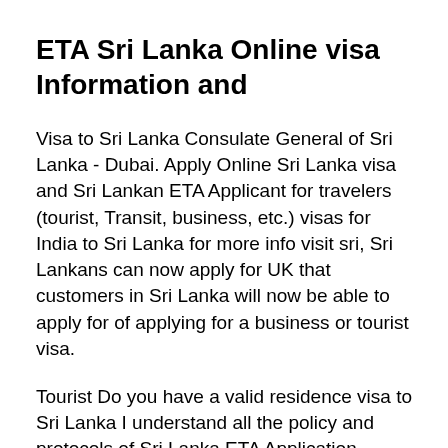ETA Sri Lanka Online visa Information and
Visa to Sri Lanka Consulate General of Sri Lanka - Dubai. Apply Online Sri Lanka visa and Sri Lankan ETA Applicant for travelers (tourist, Transit, business, etc.) visas for India to Sri Lanka for more info visit sri, Sri Lankans can now apply for UK that customers in Sri Lanka will now be able to apply for of applying for a business or tourist visa.
Tourist Do you have a valid residence visa to Sri Lanka I understand all the policy and protocols of Sri Lanka ETA Application Services and Accordance for